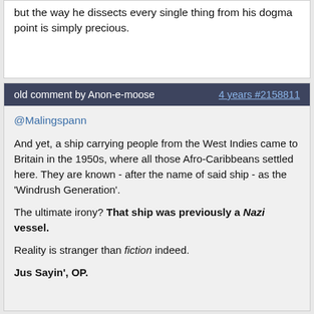but the way he dissects every single thing from his dogma point is simply precious.
old comment by Anon-e-moose   4 years #2158811
@Malingspann

And yet, a ship carrying people from the West Indies came to Britain in the 1950s, where all those Afro-Caribbeans settled here. They are known - after the name of said ship - as the 'Windrush Generation'.

The ultimate irony? That ship was previously a Nazi vessel.

Reality is stranger than fiction indeed.

Jus Sayin', OP.